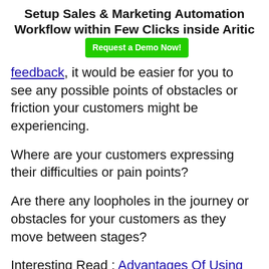Setup Sales & Marketing Automation Workflow within Few Clicks inside Aritic [Request a Demo Now!]
feedback, it would be easier for you to see any possible points of obstacles or friction your customers might be experiencing.
Where are your customers expressing their difficulties or pain points?
Are there any loopholes in the journey or obstacles for your customers as they move between stages?
Interesting Read : Advantages Of Using Emails To Reduce Customer Churn Rate